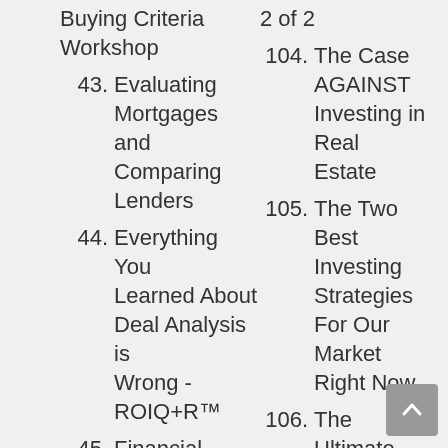Buying Criteria Workshop
43. Evaluating Mortgages and Comparing Lenders
44. Everything You Learned About Deal Analysis is Wrong - ROIQ+R™
45. Financial Mindset and Overcoming Fear
46. Finding Amazing Real Estate Investor Deals
47. Fix and Flip Case Studi...
2 of 2
104. The Case AGAINST Investing in Real Estate
105. The Two Best Investing Strategies For Our Market Right Now
106. The Ultimate Guide to CapEx for Rental Property
107. The Ultimate Guide to Earnest Money
108. The Ultimate Guide to Market Competi...